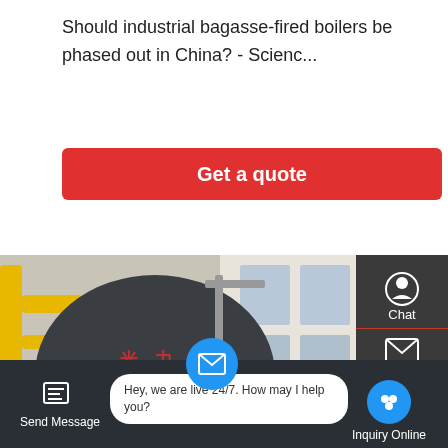Should industrial bagasse-fired boilers be phased out in China? - Scienc...
Get a quote
[Figure (photo): Industrial boiler in a factory setting with yellow gas pipes, a large dark cylindrical boiler body with red burner, and piping infrastructure. Chinese characters visible on boiler body.]
Chat
Email
Contact
Send Message
Hey, we are live 24/7. How may I help you?
Inquiry Online